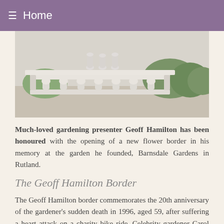≡ Home
[Figure (photo): A garden photo showing a white stone balustrade or bench with decorative vase-like balusters, with trimmed hedges and gravel in the background.]
Much-loved gardening presenter Geoff Hamilton has been honoured with the opening of a new flower border in his memory at the garden he founded, Barnsdale Gardens in Rutland.
The Geoff Hamilton Border
The Geoff Hamilton border commemorates the 20th anniversary of the gardener's sudden death in 1996, aged 59, after suffering a heart attack on a charity bike ride. Celebrity gardener Carol Klein opened the new border, on the site of the garden's winter garden, with